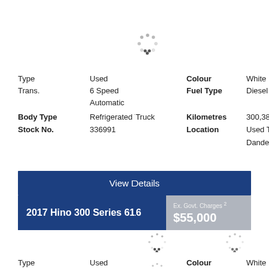[Figure (other): Loading spinner placeholder image at top]
| Type | Used | Colour | White |
| Trans. | 6 Speed Automatic | Fuel Type | Diesel |
| Body Type | Refrigerated Truck | Kilometres | 300,389 Kms |
| Stock No. | 336991 | Location | Used Trucks Dandenong |
View Details
2017 Hino 300 Series 616
Ex. Govt. Charges 2 $55,000
[Figure (other): Loading spinner placeholder - thumbnail 1]
[Figure (other): Loading spinner placeholder - thumbnail 2]
[Figure (other): Loading spinner placeholder - thumbnail 3]
[Figure (other): Loading spinner placeholder - thumbnail 4]
| Type | Used | Colour | White |